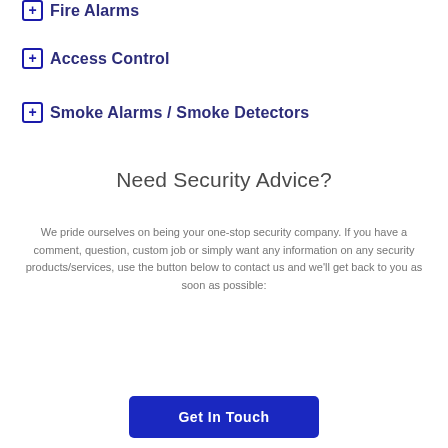⊞ Fire Alarms
⊞ Access Control
⊞ Smoke Alarms / Smoke Detectors
Need Security Advice?
We pride ourselves on being your one-stop security company. If you have a comment, question, custom job or simply want any information on any security products/services, use the button below to contact us and we'll get back to you as soon as possible:
Get In Touch